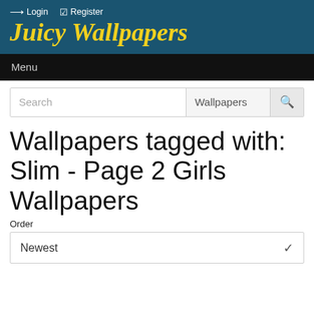Login  Register
Juicy Wallpapers
Menu
Search  Wallpapers
Wallpapers tagged with: Slim - Page 2 Girls Wallpapers
Order
Newest